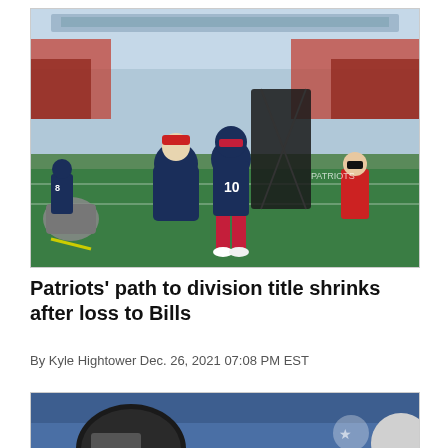[Figure (photo): New England Patriots player wearing #10 jersey walking off the football field at Gillette Stadium after a game, accompanied by a coach in navy blue jacket and hat. Stadium seats visible in background.]
Patriots' path to division title shrinks after loss to Bills
By Kyle Hightower Dec. 26, 2021 07:08 PM EST
[Figure (photo): Partial photo showing a football player wearing a Falcons helmet, bottom portion of image visible.]